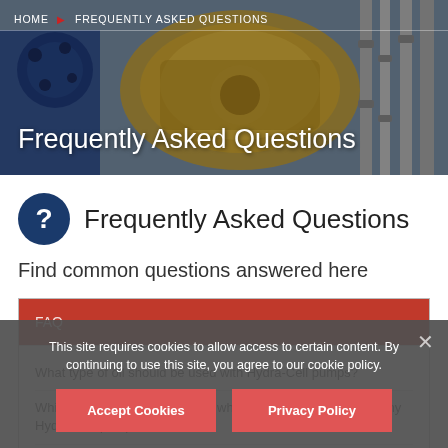[Figure (photo): Hero banner showing industrial pump equipment — metallic gold/brass pump components, blue mechanical parts, and steel rods against a grey background]
HOME ▶ FREQUENTLY ASKED QUESTIONS
Frequently Asked Questions
Frequently Asked Questions
Find common questions answered here
FAQ
What type of oil should be used with Hydra-Cell pumps?
Which way do I rotate the shaft when setting up the drive for my Hydra-Cell pump?
What happens if the Hydra-Cell pump runs dry?
This site requires cookies to allow access to certain content. By continuing to use this site, you agree to our cookie policy.